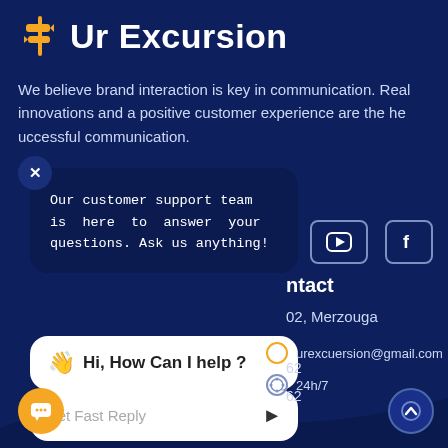Ur Excursion
We believe brand interaction is key in communication. Real innovations and a positive customer experience are the he uccessful communication.
Our customer support team is here to answer your questions. Ask us anything!
👋 Hi, How Can I help ?
Get Fast Reply
ntact
02, Merzouga
62
62
urexcuersion@gmail.com
24h/7